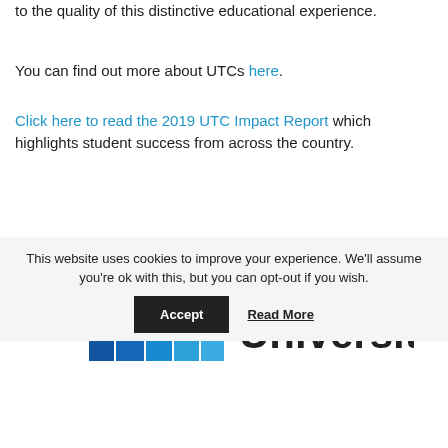to the quality of this distinctive educational experience.
You can find out more about UTCs here.
Click here to read the 2019 UTC Impact Report which highlights student success from across the country.
[Figure (logo): University logo with blue bar chart-style graphic and the word 'University' in dark text]
This website uses cookies to improve your experience. We'll assume you're ok with this, but you can opt-out if you wish.
Accept    Read More